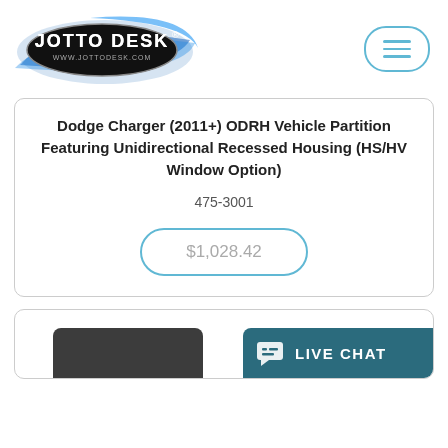[Figure (logo): Jotto Desk logo with blue swoosh and www.jottodesk.com URL]
[Figure (other): Hamburger menu button (three horizontal lines) inside a rounded pill border]
Dodge Charger (2011+) ODRH Vehicle Partition Featuring Unidirectional Recessed Housing (HS/HV Window Option)
475-3001
$1,028.42
[Figure (other): Bottom of second product card visible, with a dark product image partially shown and LIVE CHAT button overlay in teal]
LIVE CHAT